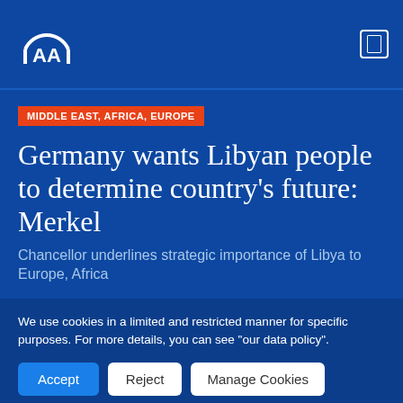AA (Anadolu Agency) logo and navigation
MIDDLE EAST, AFRICA, EUROPE
Germany wants Libyan people to determine country's future: Merkel
Chancellor underlines strategic importance of Libya to Europe, Africa
We use cookies in a limited and restricted manner for specific purposes. For more details, you can see "our data policy".
Accept | Reject | Manage Cookies